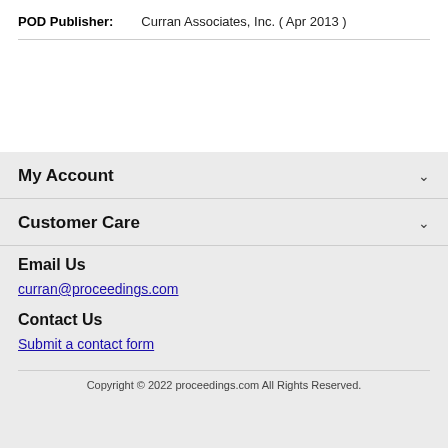POD Publisher:    Curran Associates, Inc. ( Apr 2013 )
My Account
Customer Care
Email Us
curran@proceedings.com
Contact Us
Submit a contact form
Copyright © 2022 proceedings.com All Rights Reserved.